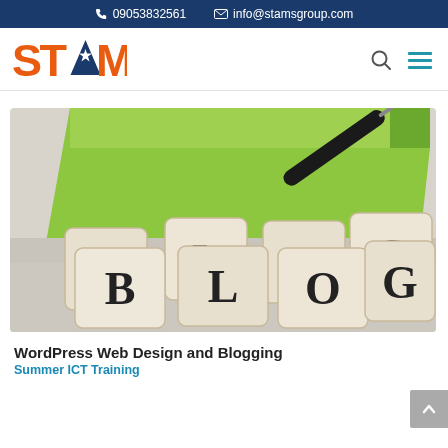📞 09053832561   ✉ info@stamsgroup.com
[Figure (logo): STAM logo with orange text and blue star/M]
[Figure (photo): Wooden letter dice spelling BLOG twice on a table, with a green notepad and a fountain pen in the background]
WordPress Web Design and Blogging
Summer ICT Training